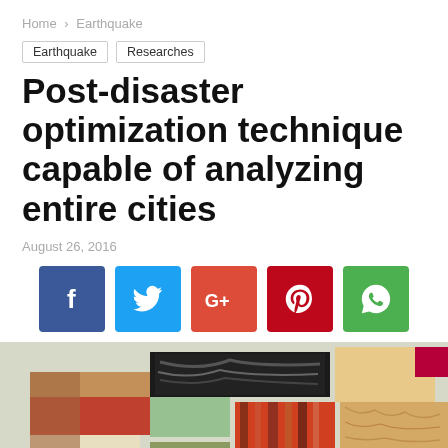Home > Earthquake
Earthquake
Researches
Post-disaster optimization technique capable of analyzing entire cities
August 26, 2016
[Figure (infographic): Social media share buttons: Facebook, Twitter, Google+, Pinterest, WhatsApp]
[Figure (photo): Colorful abstract collage of stacked wooden blocks and other materials in various colors including red, black, green, orange, and natural wood tones]